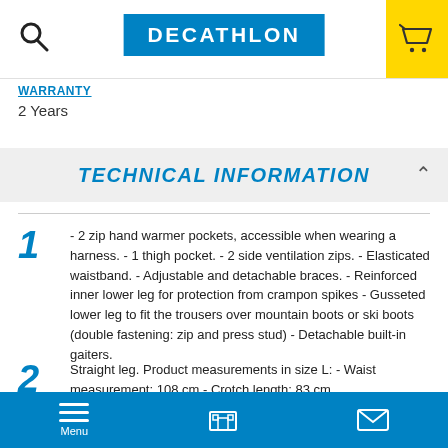DECATHLON
WARRANTY
2 Years
TECHNICAL INFORMATION
- 2 zip hand warmer pockets, accessible when wearing a harness. - 1 thigh pocket. - 2 side ventilation zips. - Elasticated waistband. - Adjustable and detachable braces. - Reinforced inner lower leg for protection from crampon spikes - Gusseted lower leg to fit the trousers over mountain boots or ski boots (double fastening: zip and press stud) - Detachable built-in gaiters.
Straight leg. Product measurements in size L: - Waist measurement: 108 cm - Crotch length: 83 cm
Menu